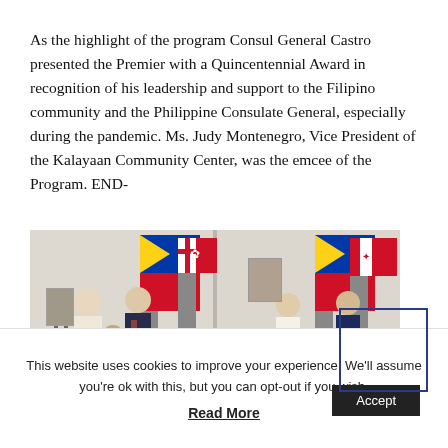As the highlight of the program Consul General Castro presented the Premier with a Quincentennial Award in recognition of his leadership and support to the Filipino community and the Philippine Consulate General, especially during the pandemic. Ms. Judy Montenegro, Vice President of the Kalayaan Community Center, was the emcee of the Program. END-
[Figure (photo): Two-panel photo: left panel shows two men shaking hands in front of Philippine and Ontario flags; right panel shows two men seated facing each other in front of the same flags, with a framed image on the wall.]
This website uses cookies to improve your experience. We'll assume you're ok with this, but you can opt-out if you wish.
Accept
Read More